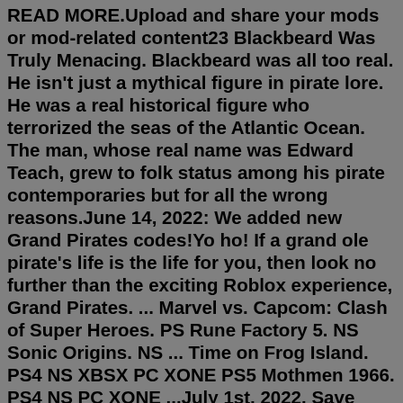READ MORE.Upload and share your mods or mod-related content23 Blackbeard Was Truly Menacing. Blackbeard was all too real. He isn't just a mythical figure in pirate lore. He was a real historical figure who terrorized the seas of the Atlantic Ocean. The man, whose real name was Edward Teach, grew to folk status among his pirate contemporaries but for all the wrong reasons.June 14, 2022: We added new Grand Pirates codes!Yo ho! If a grand ole pirate's life is the life for you, then look no further than the exciting Roblox experience, Grand Pirates. ... Marvel vs. Capcom: Clash of Super Heroes. PS Rune Factory 5. NS Sonic Origins. NS ... Time on Frog Island. PS4 NS XBSX PC XONE PS5 Mothmen 1966. PS4 NS PC XONE ...July 1st, 2022. Save 50% OFF Your 1st Month Membership! Get full access to all Pirate101 worlds, bigger backpack space and much more! Now you can start a new Membership with Pirate101 for just $4.95. Save 50% on your first month, and each subsequent month enjoy all Pirate101 has to offer for just $9.95.Aug 20, 2022 · Zo Codes. Zombie Defense